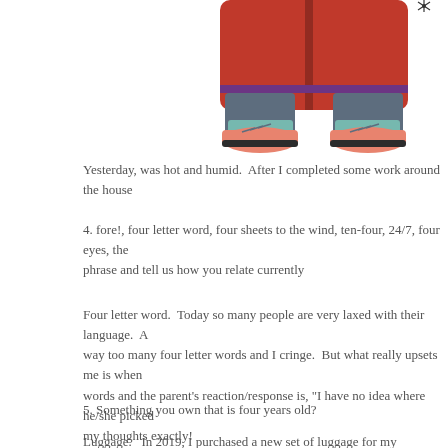[Figure (illustration): Cartoon illustration of a person from the waist down wearing a red coat/jacket, jeans, teal socks, and pink/salmon colored shoes with laces]
Yesterday, was hot and humid.  After I completed some work around the house
4. fore!, four letter word, four sheets to the wind, ten-four, 24/7, four eyes, the phrase and tell us how you relate currently
Four letter word.  Today so many people are very laxed with their language.  A way too many four letter words and I cringe.  But what really upsets me is when words and the parent's reaction/response is, "I have no idea where he/she picked my thoughts exactly!
5. Something you own that is four years old?
Luggage.   In 2019, I purchased a new set of luggage for my upcoming trip to E